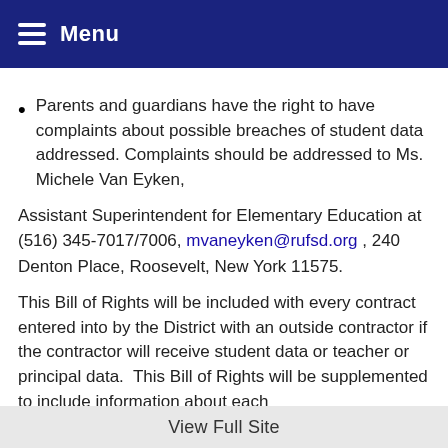Menu
Parents and guardians have the right to have complaints about possible breaches of student data addressed. Complaints should be addressed to Ms. Michele Van Eyken,
Assistant Superintendent for Elementary Education at (516) 345-7017/7006, mvaneyken@rufsd.org , 240 Denton Place, Roosevelt, New York 11575.
This Bill of Rights will be included with every contract entered into by the District with an outside contractor if the contractor will receive student data or teacher or principal data.  This Bill of Rights will be supplemented to include information about each
View Full Site